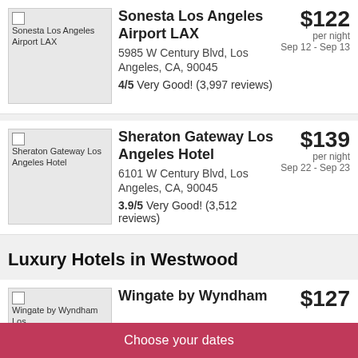[Figure (photo): Sonesta Los Angeles Airport LAX hotel image placeholder]
Sonesta Los Angeles Airport LAX
$122 per night Sep 12 - Sep 13
5985 W Century Blvd, Los Angeles, CA, 90045
4/5 Very Good! (3,997 reviews)
[Figure (photo): Sheraton Gateway Los Angeles Hotel image placeholder]
Sheraton Gateway Los Angeles Hotel
$139 per night Sep 22 - Sep 23
6101 W Century Blvd, Los Angeles, CA, 90045
3.9/5 Very Good! (3,512 reviews)
Luxury Hotels in Westwood
[Figure (photo): Wingate by Wyndham Los Angeles hotel image placeholder]
Wingate by Wyndham
$127
Choose your dates